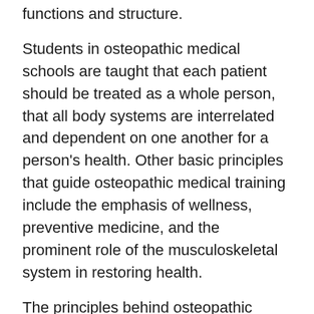functions and structure.
Students in osteopathic medical schools are taught that each patient should be treated as a whole person, that all body systems are interrelated and dependent on one another for a person's health. Other basic principles that guide osteopathic medical training include the emphasis of wellness, preventive medicine, and the prominent role of the musculoskeletal system in restoring health.
The principles behind osteopathic medicine were developed more than 125 years ago by A.T. Still, M.D., who was dissatisfied with the ineffectiveness of 19th century medicine. These principles remain the foundation for the way D.O.'s practice today, and these methods are also setting the standard for the future of medical education and practice. Each year